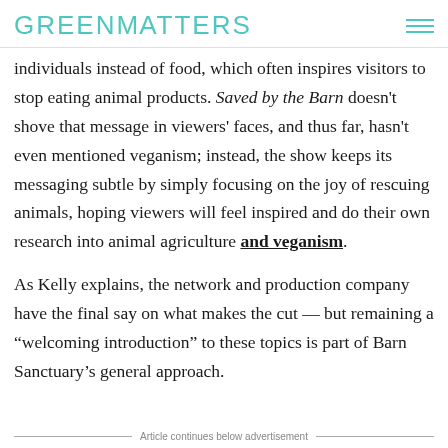GREENMATTERS
individuals instead of food, which often inspires visitors to stop eating animal products. Saved by the Barn doesn't shove that message in viewers' faces, and thus far, hasn't even mentioned veganism; instead, the show keeps its messaging subtle by simply focusing on the joy of rescuing animals, hoping viewers will feel inspired and do their own research into animal agriculture and veganism.
As Kelly explains, the network and production company have the final say on what makes the cut — but remaining a “welcoming introduction” to these topics is part of Barn Sanctuary’s general approach.
Article continues below advertisement